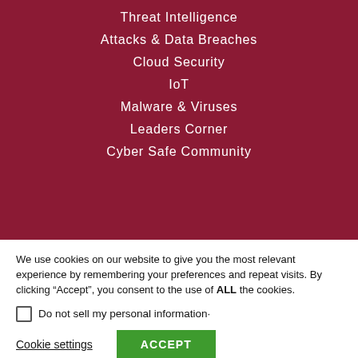Threat Intelligence
Attacks & Data Breaches
Cloud Security
IoT
Malware & Viruses
Leaders Corner
Cyber Safe Community
We use cookies on our website to give you the most relevant experience by remembering your preferences and repeat visits. By clicking “Accept”, you consent to the use of ALL the cookies.
Do not sell my personal information·
Cookie settings
ACCEPT